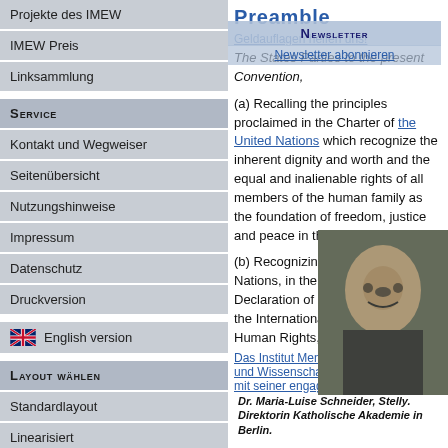Projekte des IMEW
IMEW Preis
Linksammlung
Service
Kontakt und Wegweiser
Seitenübersicht
Nutzungshinweise
Impressum
Datenschutz
Druckversion
English version
Layout wählen
Standardlayout
Linearisiert
Invertiert
Preamble
Geldauflagen helfen uns!
The States Parties to the present Convention,
Newsletter
Newsletter abonnieren
(a) Recalling the principles proclaimed in the Charter of the United Nations which recognize the inherent dignity and worth and the equal and inalienable rights of all members of the human family as the foundation of freedom, justice and peace in the world.
[Figure (photo): Photo of Dr. Maria-Luise Schneider, Stelly. Direktorin Katholische Akademie in Berlin]
Dr. Maria-Luise Schneider, Stelly. Direktorin Katholische Akademie in Berlin
(b) Recognizing that the United Nations, in the Universal Declaration of Human Rights and in the International Covenants on Human Rights, has
Das Institut Mensch Ethik und Wissenschaft hat sich mit seiner engagierten und